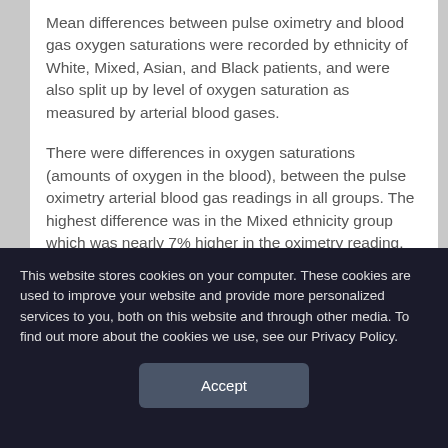Mean differences between pulse oximetry and blood gas oxygen saturations were recorded by ethnicity of White, Mixed, Asian, and Black patients, and were also split up by level of oxygen saturation as measured by arterial blood gases.
There were differences in oxygen saturations (amounts of oxygen in the blood), between the pulse oximetry arterial blood gas readings in all groups. The highest difference was in the Mixed ethnicity group which was nearly 7% higher in the oximetry reading, with the lowest in the White group at 3.2% higher than the true measurement from arterial blood gases. A reading of
This website stores cookies on your computer. These cookies are used to improve your website and provide more personalized services to you, both on this website and through other media. To find out more about the cookies we use, see our Privacy Policy.